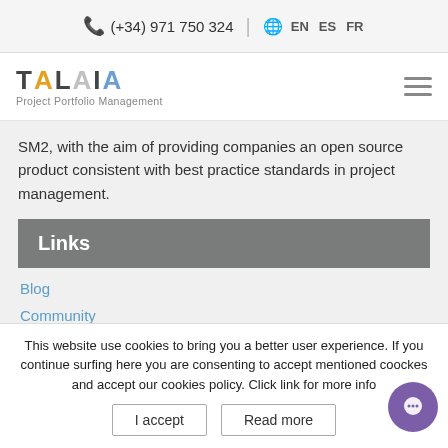(+34) 971 750 324  |  EN  ES  FR
[Figure (logo): TALAIA Project Portfolio Management logo with stylized text and mountain/arrow shape above the A]
SM2, with the aim of providing companies an open source product consistent with best practice standards in project management.
Links
Blog
Community
Videos
TALAIA presentation
This website use cookies to bring you a better user experience. If you continue surfing here you are consenting to accept mentioned coockes and accept our cookies policy. Click link for more info